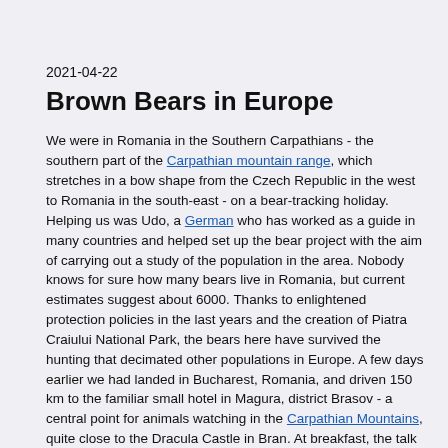2021-04-22
Brown Bears in Europe
We were in Romania in the Southern Carpathians - the southern part of the Carpathian mountain range, which stretches in a bow shape from the Czech Republic in the west to Romania in the south-east - on a bear-tracking holiday. Helping us was Udo, a German who has worked as a guide in many countries and helped set up the bear project with the aim of carrying out a study of the population in the area.
Nobody knows for sure how many bears live in Romania, but current estimates suggest about 6000. Thanks to enlightened protection policies in the last years and the creation of Piatra Craiului National Park, the bears here have survived the hunting that decimated other populations in Europe.
A few days earlier we had landed in Bucharest, Romania, and driven 150 km to the familiar small hotel in Magura, district Brasov - a central point for animals watching in the Carpathian Mountains, quite close to the Dracula Castle in Bran.
At breakfast, the talk soon strayed to what to do if a bear comes running towards you, a fate that a few years earlier had befallen a local man who narrowly survived an attack by a female defending